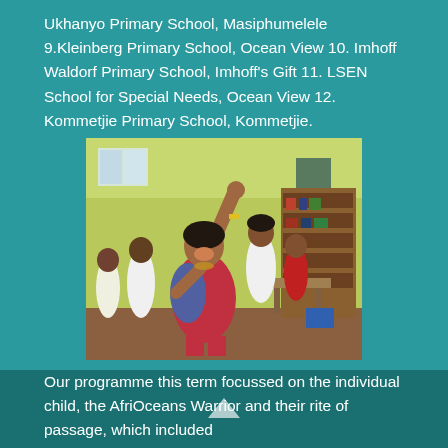Ukhanyo Primary School, Masiphumelele 9.Kleinberg Primary School, Ocean View 10. Imhoff Waldorf Primary School, Imhoff's Gift 11. LSEN School for Special Needs, Ocean View 12. Kommetjie Primary School, Kommetjie.
[Figure (photo): Children in a classroom with yellow walls and bookshelves. A girl in a red top is laughing with her arm raised joyfully. Other students are visible in the background.]
Our programme this term focussed on the individual child, the AfriOceans Warrior and their rite of passage, which included